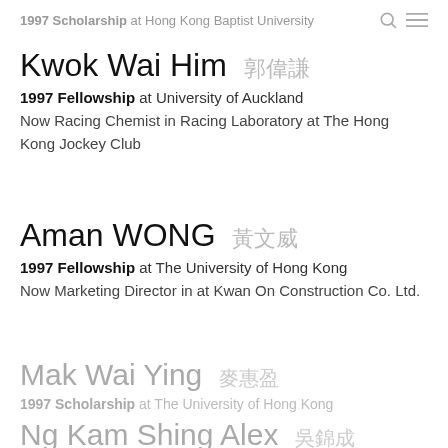1997 Scholarship at Hong Kong Baptist University
Kwok Wai Him 郭偉謙
1997 Fellowship at University of Auckland
Now Racing Chemist in Racing Laboratory at The Hong Kong Jockey Club
Aman WONG 黃文威
1997 Fellowship at The University of Hong Kong
Now Marketing Director in at Kwan On Construction Co. Ltd.
Mak Wai Ying 麥惠盈
1997 Scholarship at The University of Hong Kong
Ng Kam Shing Alex 吳錦成